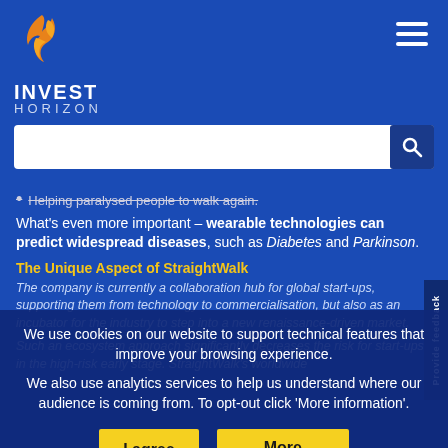[Figure (logo): Invest Horizon logo with orange flame/bird icon and white text INVEST HORIZON on blue background]
[Figure (other): Hamburger menu icon (three horizontal white lines) in top right corner]
[Figure (other): Search bar with white input field and dark blue search button with magnifying glass icon]
Helping paralysed people to walk again.
What's even more important – wearable technologies can predict widespread diseases, such as Diabetes and Parkinson.
The Unique Aspect of StraightWalk
The company is currently a collaboration hub for global start-ups, supporting them from technology to commercialisation, but also as an incubator for the industry to step into a new renaissance-driven market.
We use cookies on our website to support technical features that improve your browsing experience.
We also use analytics services to help us understand where our audience is coming from. To opt-out click 'More information'.
Such an ecosystem approach significantly decreases the risk for start-ups in the high-risk early stage. StraightWalk's worldwide
[Figure (other): I agree button - yellow/gold background with black bold text]
[Figure (other): More information button - yellow/gold background with black bold text]